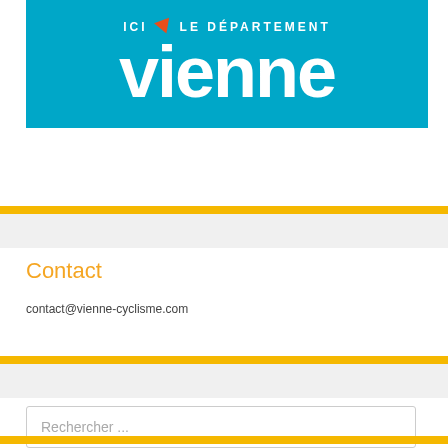[Figure (logo): Vienne department logo on blue background with orange arrow and white bold text 'ici' and 'LE DEPARTEMENT' above large white 'vienne']
Contact
contact@vienne-cyclisme.com
Rechercher ...
Recherche